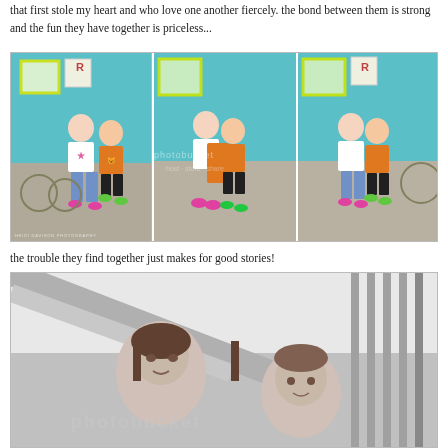that first stole my heart and who love one another fiercely. the bond between them is strong and the fun they have together is priceless...
[Figure (photo): Three-panel color photograph strip showing two children (a girl in white t-shirt and a boy in orange t-shirt) posing in front of a turquoise/blue building with yellow-framed windows. Left panel: both children standing apart. Middle panel: girl hugging boy who holds orange cloth. Right panel: children standing together smiling. Watermark text visible across images.]
the trouble they find together just makes for good stories!
[Figure (photo): Black and white photograph showing two children (a girl and a boy) looking at the camera, with architectural elements (railing, columns) in the background. Watermark text visible across image.]